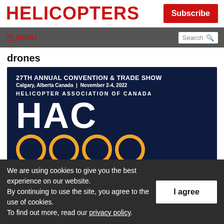HELICOPTERS | Subscribe
≡ MENU | Search
drones
[Figure (illustration): 27TH ANNUAL CONVENTION & TRADE SHOW Calgary, Alberta Canada | November 2-4, 2022 HELICOPTER ASSOCIATION OF CANADA HAC 2022 logo on dark navy background with orange circles]
We are using cookies to give you the best experience on our website.
By continuing to use the site, you agree to the use of cookies.
To find out more, read our privacy policy.